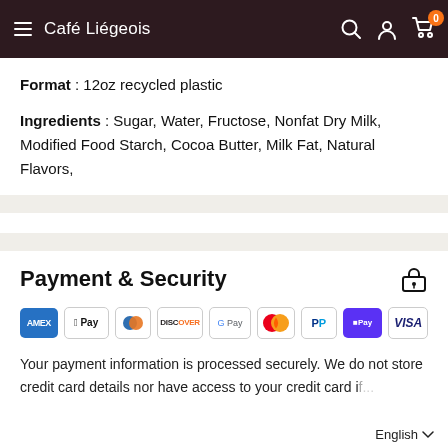Café Liégeois
Format : 12oz recycled plastic
Ingredients : Sugar, Water, Fructose, Nonfat Dry Milk, Modified Food Starch, Cocoa Butter, Milk Fat, Natural Flavors,
Payment & Security
[Figure (logo): Payment method icons: American Express, Apple Pay, Diners Club, Discover, Google Pay, Mastercard, PayPal, Shop Pay, Visa]
Your payment information is processed securely. We do not store credit card details nor have access to your credit card i...